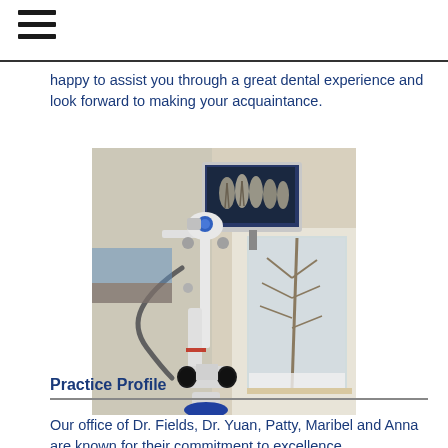happy to assist you through a great dental experience and look forward to making your acquaintance.
[Figure (photo): A dental microscope with articulated arm and binocular eyepieces, with a monitor displaying a dental X-ray image in the background. Window with trees visible in background.]
Practice Profile
Our office of Dr. Fields, Dr. Yuan, Patty, Maribel and Anna are known for their commitment to excellence.